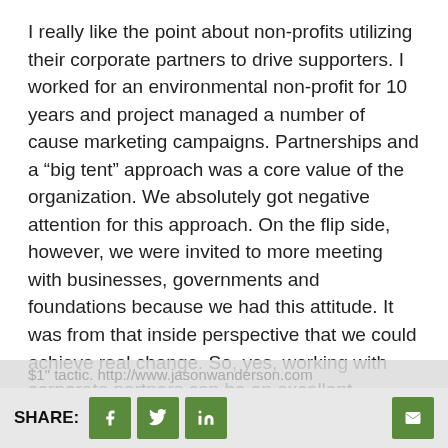I really like the point about non-profits utilizing their corporate partners to drive supporters. I worked for an environmental non-profit for 10 years and project managed a number of cause marketing campaigns. Partnerships and a “big tent” approach was a core value of the organization. We absolutely got negative attention for this approach. On the flip side, however, we were invited to more meeting with businesses, governments and foundations because we had this attitude. It was from that inside perspective that we could achieve real change. So, yes, working with corporate partners can be an excellent fundraising tactic beyond the “buy this product, we’ll donate a
$1" tactic. http://www.jasonwanderson.com
SHARE: